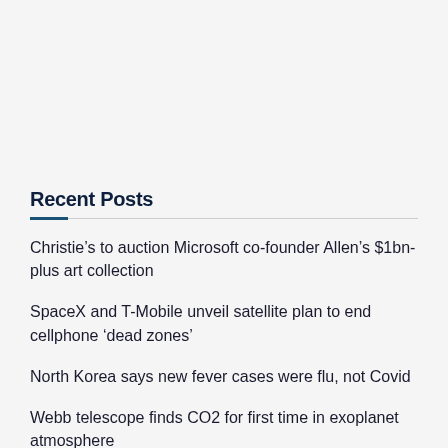Recent Posts
Christie’s to auction Microsoft co-founder Allen’s $1bn-plus art collection
SpaceX and T-Mobile unveil satellite plan to end cellphone ‘dead zones’
North Korea says new fever cases were flu, not Covid
Webb telescope finds CO2 for first time in exoplanet atmosphere